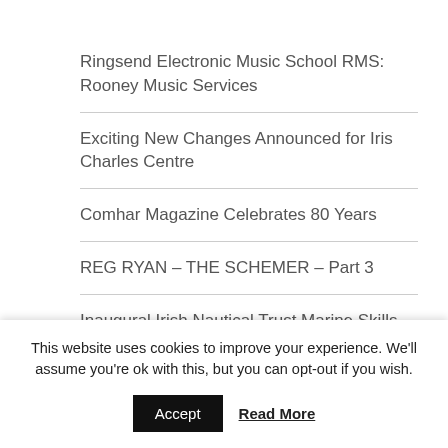Ringsend Electronic Music School RMS: Rooney Music Services
Exciting New Changes Announced for Iris Charles Centre
Comhar Magazine Celebrates 80 Years
REG RYAN – THE SCHEMER – Part 3
Inaugural Irish Nautical Trust Marine Skills & Technology Graduates
An Garda Síochána Celebrate 100 Years
ICB City... Cultural Highlights...
This website uses cookies to improve your experience. We'll assume you're ok with this, but you can opt-out if you wish.
Accept   Read More